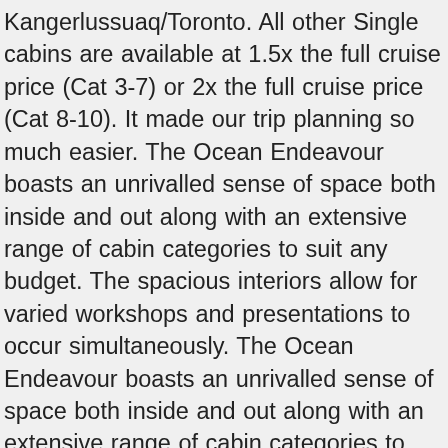Kangerlussuaq/Toronto. All other Single cabins are available at 1.5x the full cruise price (Cat 3-7) or 2x the full cruise price (Cat 8-10). It made our trip planning so much easier. The Ocean Endeavour boasts an unrivalled sense of space both inside and out along with an extensive range of cabin categories to suit any budget. The spacious interiors allow for varied workshops and presentations to occur simultaneously. The Ocean Endeavour boasts an unrivalled sense of space both inside and out along with an extensive range of cabin categories to suit any budget. All trips subject to a possible fuel surcharge. The Ocean Endeavour is a joint partnership between Chimu Adventures and Intrepid Travel which brings together over 40 years combined Antarctic experience. The ship has an ice-strengthened hull, Zodiacs for exploration and remote landings, generous deck space and advanced navigation equipment. Pick a few Antarctica or Arctic vacations that appeal to you. Point MOUSE at Cabin Category to view DETAILED description. At 137 meters (450ft) in length, Ocean Endeavour has plenty of interior and